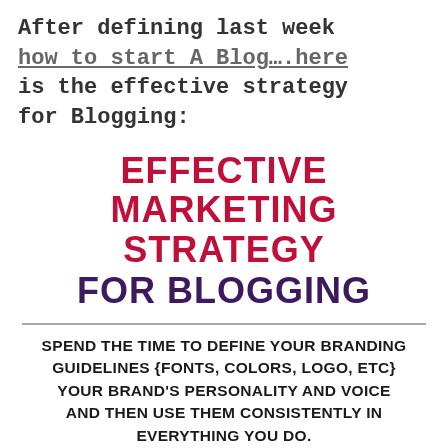After defining last week how to start A Blog….here is the effective strategy for Blogging:
EFFECTIVE MARKETING STRATEGY FOR BLOGGING
SPEND THE TIME TO DEFINE YOUR BRANDING GUIDELINES {FONTS, COLORS, LOGO, ETC} YOUR BRAND'S PERSONALITY AND VOICE AND THEN USE THEM CONSISTENTLY IN EVERYTHING YOU DO.
STORY TELLING + GENUINE VISUALS IS THE KEY